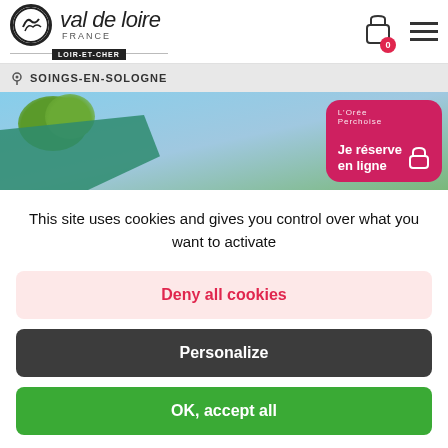[Figure (screenshot): Val de Loire France - Loir-et-Cher tourism website header with logo, shopping cart icon with badge showing 0, and hamburger menu icon]
SOINGS-EN-SOLOGNE
[Figure (photo): Outdoor photo showing blue sky, trees, and green tarp/canopy structures with L'Orée Perchoise booking card overlay with 'Je réserve en ligne' button]
This site uses cookies and gives you control over what you want to activate
Deny all cookies
Personalize
OK, accept all